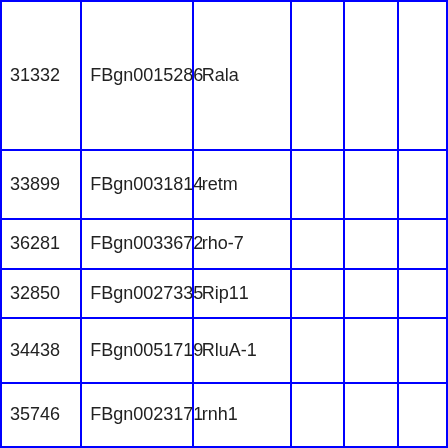| 31332 | FBgn0015286 | Rala |  |  |  |
| 33899 | FBgn0031814 | retm |  |  |  |
| 36281 | FBgn0033672 | rho-7 |  |  |  |
| 32850 | FBgn0027335 | Rip11 |  |  |  |
| 34438 | FBgn0051719 | RluA-1 |  |  |  |
| 35746 | FBgn0023171 | rnh1 |  |  |  |